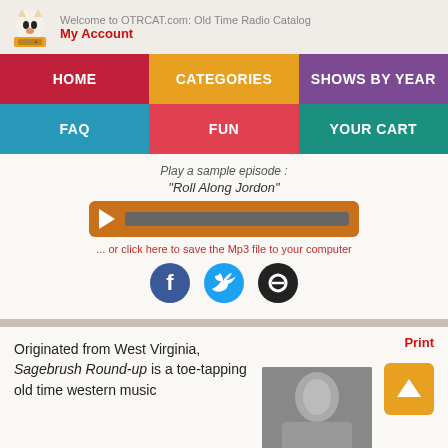Welcome to OTRCAT.com: Old Time Radio Catalog | My Account
[Figure (screenshot): Navigation menu with HOME, CATEGORIES, SHOWS BY YEAR, FAQ, FUN, YOUR CART buttons]
Play a sample episode :
"Roll Along Jordon"
[Figure (other): Audio player bar with play button and progress bar]
... or click here to save the Mp3 file to your computer
[Figure (other): Social sharing icons: Facebook, Twitter, Link]
Print
Originated from West Virginia, Sagebrush Round-up is a toe-tapping old time western music